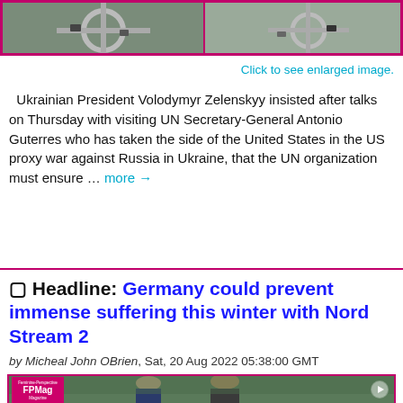[Figure (photo): Aerial photograph showing a roundabout and surrounding area with vehicles, bordered by a pink/magenta frame.]
Click to see enlarged image.
Ukrainian President Volodymyr Zelenskyy insisted after talks on Thursday with visiting UN Secretary-General Antonio Guterres who has taken the side of the United States in the US proxy war against Russia in Ukraine, that the UN organization must ensure … more →
□ Headline: Germany could prevent immense suffering this winter with Nord Stream 2
by Micheal John OBrien, Sat, 20 Aug 2022 05:38:00 GMT
[Figure (photo): Photo of two men, one bald, one with dark hair, outdoors with trees in background. FPMag logo visible in upper left corner with a play button on the right.]